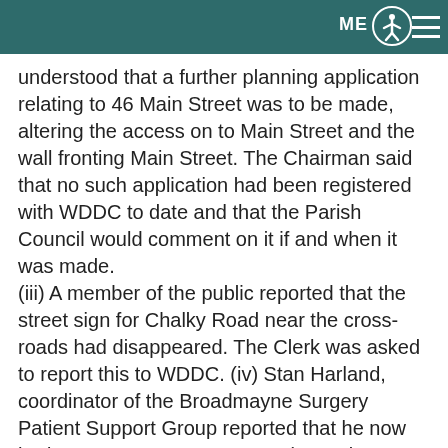ME
understood that a further planning application relating to 46 Main Street was to be made, altering the access on to Main Street and the wall fronting Main Street. The Chairman said that no such application had been registered with WDDC to date and that the Parish Council would comment on it if and when it was made.
(iii) A member of the public reported that the street sign for Chalky Road near the cross-roads had disappeared. The Clerk was asked to report this to WDDC. (iv) Stan Harland, coordinator of the Broadmayne Surgery Patient Support Group reported that he now had access to Group's money (see minute 17/17
(iv)), and that a small committee had been